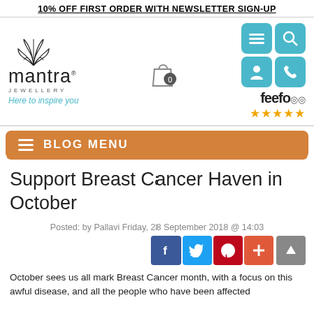10% OFF FIRST ORDER WITH NEWSLETTER SIGN-UP
[Figure (logo): Mantra Jewellery logo with lotus flower graphic, tagline 'Here to inspire you']
[Figure (screenshot): Navigation icons: hamburger menu, search, user, phone; feefo 5-star rating; shopping bag with 0 items]
[Figure (screenshot): Orange navigation bar with hamburger icon and text BLOG MENU]
Support Breast Cancer Haven in October
Posted: by Pallavi Friday, 28 September 2018 @ 14:03
[Figure (screenshot): Social sharing buttons: Facebook, Twitter, Pinterest, plus button; scroll-to-top arrow button]
October sees us all mark Breast Cancer month, with a focus on this awful disease, and all the people who have been affected